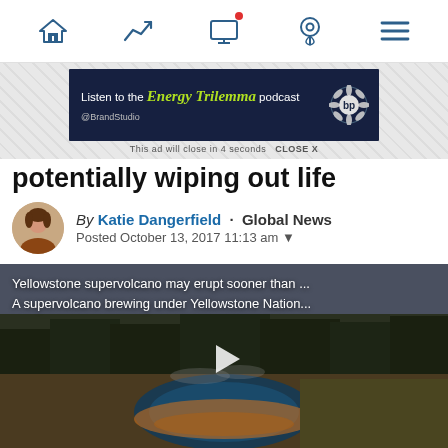Navigation bar with home, trending, broadcast, location, and menu icons
[Figure (screenshot): Advertisement banner: Listen to the Energy Trilemma podcast - BrandStudio / bp logo. Ad will close in 4 seconds. CLOSE X]
potentially wiping out life
By Katie Dangerfield · Global News
Posted October 13, 2017 11:13 am
[Figure (screenshot): Video thumbnail of Yellowstone hot spring with play button. Overlay text: 'Yellowstone supervolcano may erupt sooner than ... A supervolcano brewing under Yellowstone Nation...']